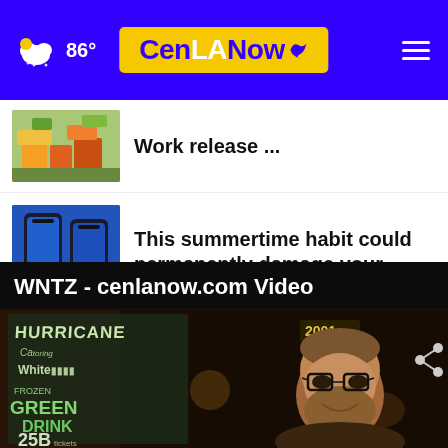86° CenLANow
Work release ...
This summertime habit could permanently damage your ...
More Stories ›
WNTZ - cenlanow.com Video
[Figure (photo): Video thumbnail showing a bar scene with chalkboard signs reading HURRICANE, Green Drink, 25B, and a man with glasses smiling in the foreground]